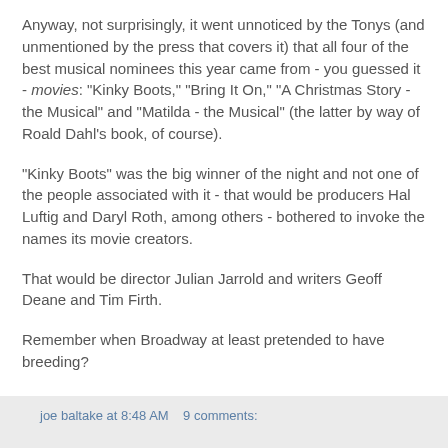Anyway, not surprisingly, it went unnoticed by the Tonys (and unmentioned by the press that covers it) that all four of the best musical nominees this year came from - you guessed it - movies: "Kinky Boots," "Bring It On," "A Christmas Story - the Musical" and "Matilda - the Musical" (the latter by way of Roald Dahl's book, of course).
"Kinky Boots" was the big winner of the night and not one of the people associated with it - that would be producers Hal Luftig and Daryl Roth, among others - bothered to invoke the names its movie creators.
That would be director Julian Jarrold and writers Geoff Deane and Tim Firth.
Remember when Broadway at least pretended to have breeding?
Not any more.
joe baltake at 8:48 AM   9 comments: